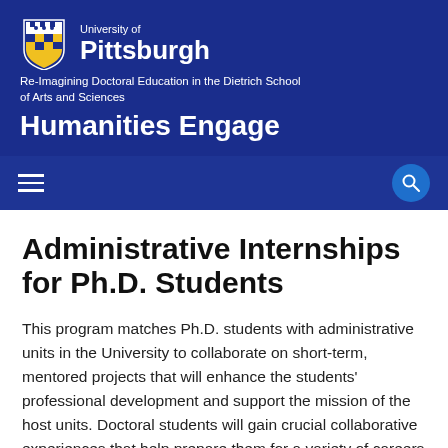University of Pittsburgh — Re-Imagining Doctoral Education in the Dietrich School of Arts and Sciences — Humanities Engage
Administrative Internships for Ph.D. Students
This program matches Ph.D. students with administrative units in the University to collaborate on short-term, mentored projects that will enhance the students' professional development and support the mission of the host units. Doctoral students will gain crucial collaborative experiences that help prepare them for a variety of careers – from the tenure track and higher education